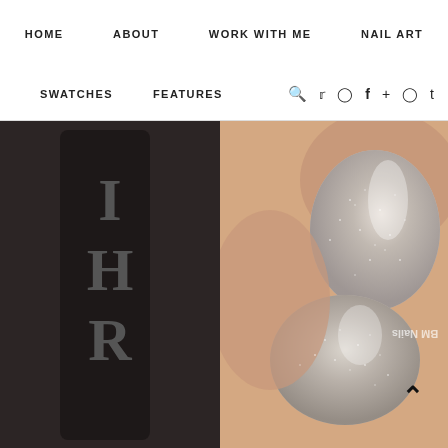HOME   ABOUT   WORK WITH ME   NAIL ART
SWATCHES   FEATURES   🔍   social icons
[Figure (photo): Close-up photo of fingers with silver/champagne holographic glitter nail polish, showing two nails prominently. The background on the left shows a dark nail polish bottle. A watermark reads 'BM Nails' in the bottom right.]